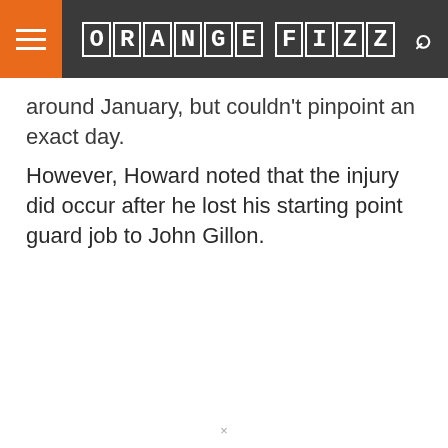ORANGE FIZZ
around January, but couldn't pinpoint an exact day. However, Howard noted that the injury did occur after he lost his starting point guard job to John Gillon.